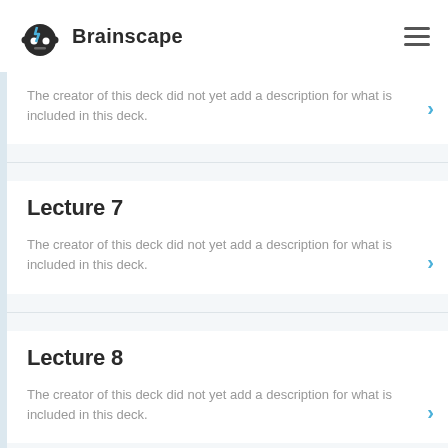Brainscape
The creator of this deck did not yet add a description for what is included in this deck.
Lecture 7
The creator of this deck did not yet add a description for what is included in this deck.
Lecture 8
The creator of this deck did not yet add a description for what is included in this deck.